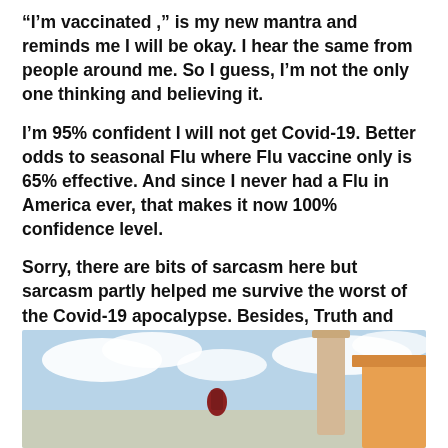“I’m vaccinated ,” is my new mantra and reminds me I will be okay. I hear the same from people around me. So I guess, I’m not the only one thinking and believing it.
I’m 95% confident I will not get Covid-19. Better odds to seasonal Flu where Flu vaccine only is 65% effective. And since I never had a Flu in America ever, that makes it now 100% confidence level.
Sorry, there are bits of sarcasm here but sarcasm partly helped me survive the worst of the Covid-19 apocalypse. Besides, Truth and Sarcasm goes hand in hand. They are irresistibly funnier together.
[Figure (photo): A photo showing what appears to be an outdoor scene with blue sky, clouds, and a figure or object in the foreground against a light background.]